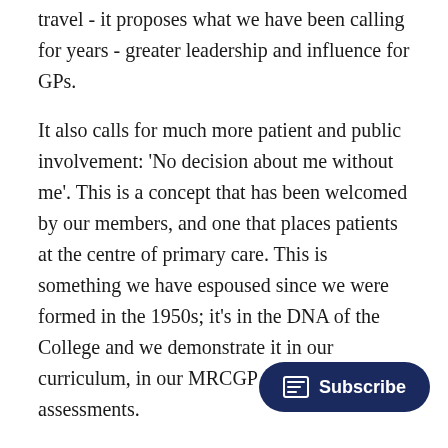travel - it proposes what we have been calling for years - greater leadership and influence for GPs.
It also calls for much more patient and public involvement: 'No decision about me without me'. This is a concept that has been welcomed by our members, and one that places patients at the centre of primary care. This is something we have espoused since we were formed in the 1950s; it's in the DNA of the College and we demonstrate it in our curriculum, in our MRCGP and in our iMAP assessments.
Where we have reservations, we have solutions and suggestions. We have put them in